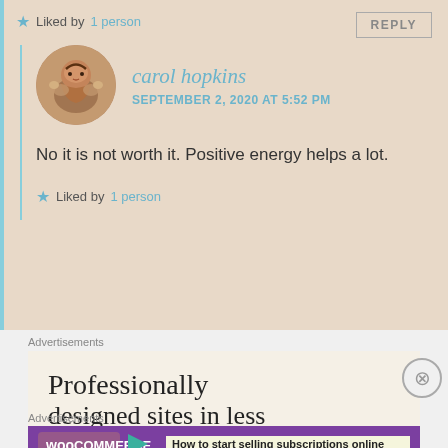★ Liked by 1 person
carol hopkins
SEPTEMBER 2, 2020 AT 5:52 PM
[Figure (photo): Avatar photo of carol hopkins, a woman smiling holding a cat]
No it is not worth it. Positive energy helps a lot.
★ Liked by 1 person
REPLY
Advertisements
Professionally designed sites in less
Advertisements
[Figure (screenshot): WooCommerce advertisement banner: How to start selling subscriptions online]